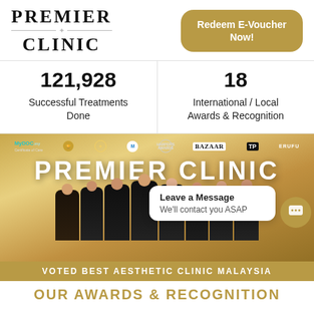[Figure (logo): Premier Clinic logo with stylized text and horizontal line]
Redeem E-Voucher Now!
121,928
Successful Treatments Done
18
International / Local Awards & Recognition
[Figure (photo): Premier Clinic promotional banner with doctors in formal wear, award logos (MyDOC, NinaClinic, Merz, Harpers Awards, Bazaar, TallyPress, Erufu), 'PREMIER CLINIC' text in gold, chat bubble overlay saying 'Leave a Message / We'll contact you ASAP', gold bar at bottom reading 'VOTED BEST AESTHETIC CLINIC MALAYSIA']
OUR AWARDS & RECOGNITION